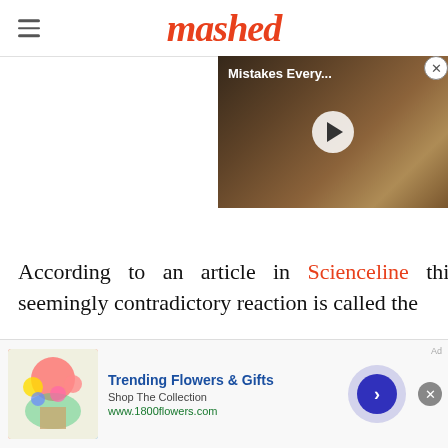mashed
[Figure (screenshot): Video thumbnail showing fried/breaded food with text 'Mistakes Every...' and a play button overlay]
According to an article in Scienceline this seemingly contradictory reaction is called the
[Figure (infographic): Advertisement banner for 1800flowers.com - Trending Flowers & Gifts, Shop The Collection, www.1800flowers.com]